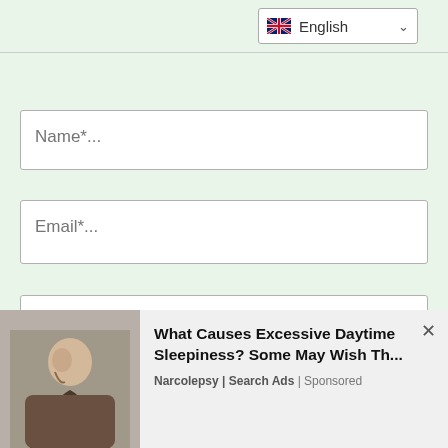[Figure (screenshot): Language selector dropdown showing UK flag and 'English' with chevron]
Name*...
Email*...
Website...
SEND
This site uses Akismet to reduce spam. Learn how your comment data is processed
[Figure (photo): Advertisement banner: elderly man sleeping, ad for narcolepsy search ads - 'What Causes Excessive Daytime Sleepiness? Some May Wish Th...']